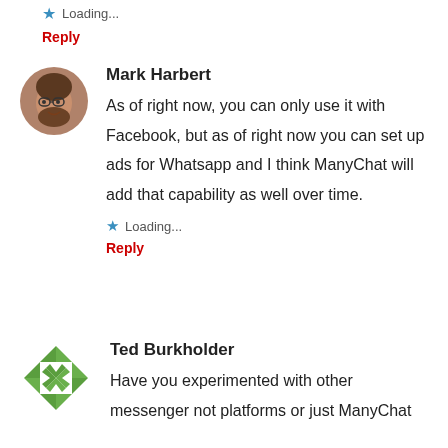Loading...
Reply
Mark Harbert
As of right now, you can only use it with Facebook, but as of right now you can set up ads for Whatsapp and I think ManyChat will add that capability as well over time.
Loading...
Reply
Ted Burkholder
Have you experimented with other messenger not platforms or just ManyChat